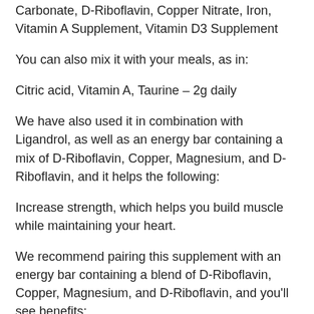Carbonate, D-Riboflavin, Copper Nitrate, Iron, Vitamin A Supplement, Vitamin D3 Supplement
You can also mix it with your meals, as in:
Citric acid, Vitamin A, Taurine – 2g daily
We have also used it in combination with Ligandrol, as well as an energy bar containing a mix of D-Riboflavin, Copper, Magnesium, and D-Riboflavin, and it helps the following:
Increase strength, which helps you build muscle while maintaining your heart.
We recommend pairing this supplement with an energy bar containing a blend of D-Riboflavin, Copper, Magnesium, and D-Riboflavin, and you'll see benefits: